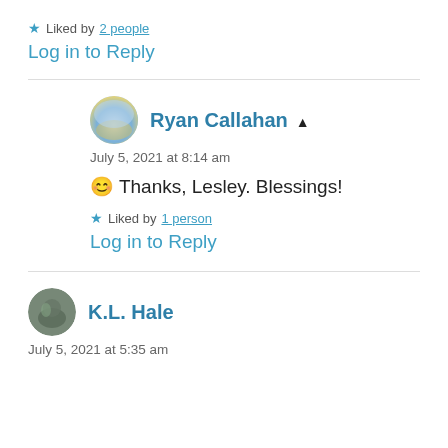★ Liked by 2 people
Log in to Reply
Ryan Callahan ▲
July 5, 2021 at 8:14 am
😊 Thanks, Lesley. Blessings!
★ Liked by 1 person
Log in to Reply
K.L. Hale
July 5, 2021 at 5:35 am